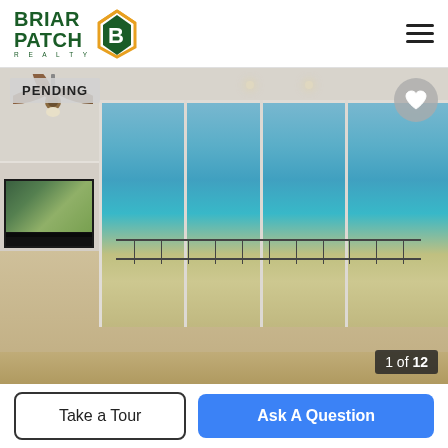[Figure (logo): Briar Patch Realty logo with green text and orange/green patch icon]
[Figure (photo): Interior of a beachfront condo with large sliding glass doors opening to a balcony with ocean view, light wood floors, ceiling fan, wall-mounted TV, with PENDING badge overlay]
1 of 12
Take a Tour
Ask A Question